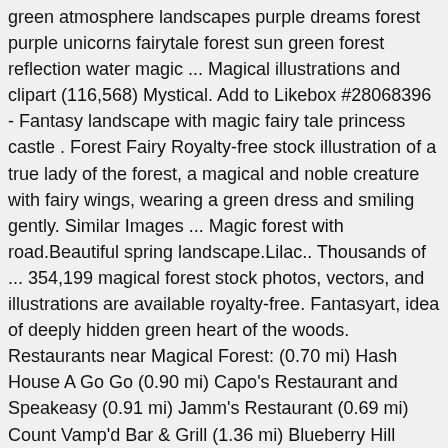green atmosphere landscapes purple dreams forest purple unicorns fairytale forest sun green forest reflection water magic ... Magical illustrations and clipart (116,568) Mystical. Add to Likebox #28068396 - Fantasy landscape with magic fairy tale princess castle . Forest Fairy Royalty-free stock illustration of a true lady of the forest, a magical and noble creature with fairy wings, wearing a green dress and smiling gently. Similar Images ... Magic forest with road.Beautiful spring landscape.Lilac.. Thousands of ... 354,199 magical forest stock photos, vectors, and illustrations are available royalty-free. Fantasyart, idea of deeply hidden green heart of the woods. Restaurants near Magical Forest: (0.70 mi) Hash House A Go Go (0.90 mi) Capo's Restaurant and Speakeasy (0.91 mi) Jamm's Restaurant (0.69 mi) Count Vamp'd Bar & Grill (1.36 mi) Blueberry Hill Family Restaurant; View all restaurants near Magical Forest on Tripadvisor $ Elegant green Christmas card with sparkling lights. The fog is giving the forest a desolate and depressing atmosphere. vector cartoon illustration of fantastic alien nature with giant toadstools and mountains. magical forest